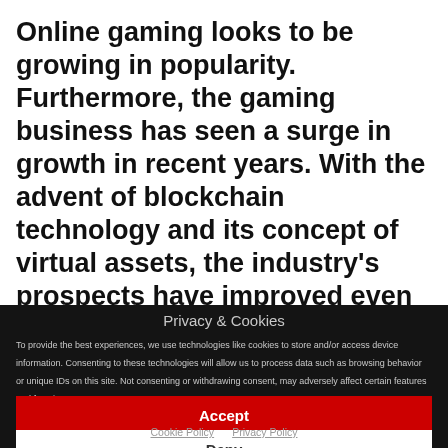Online gaming looks to be growing in popularity. Furthermore, the gaming business has seen a surge in growth in recent years. With the advent of blockchain technology and its concept of virtual assets, the industry's prospects have improved even more. Several firms, like Enjin, GameCredits, and NFT, have
Privacy & Cookies
To provide the best experiences, we use technologies like cookies to store and/or access device information. Consenting to these technologies will allow us to process data such as browsing behavior or unique IDs on this site. Not consenting or withdrawing consent, may adversely affect certain features and functions.
Accept
Deny
Cookie Policy   Privacy Policy